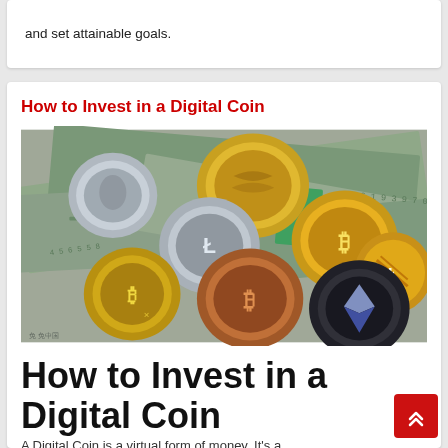and set attainable goals.
How to Invest in a Digital Coin
[Figure (photo): Multiple cryptocurrency coins (Bitcoin, Litecoin, Ethereum, and others) in gold, silver, copper, and black scattered over US dollar bills]
How to Invest in a Digital Coin
A Digital Coin is a virtual form of money. It's a